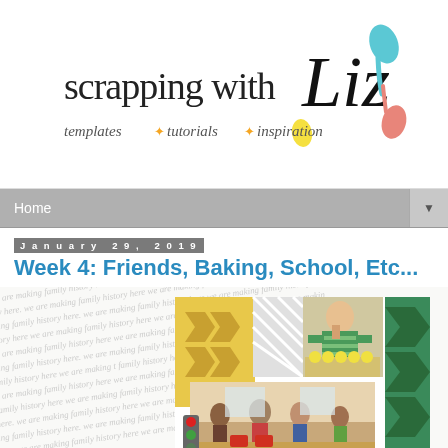[Figure (logo): Scrapping with Liz logo — handwritten-style 'scrapping with Liz' text with colorful spoon/drip graphic and tagline 'templates * tutorials * inspiration']
Home ▼
January 29, 2019
Week 4: Friends, Baking, School, Etc...
[Figure (photo): Scrapbook layout page with handwritten background text 'we are making family history here', featuring two photos: a party/gathering scene with people and colorful furniture, and a girl in a green striped shirt baking/decorating cupcakes. Decorative elements include a yellow chevron pattern, diagonal stripe pattern, green chevron strip, traffic light embellishment, and a small red label sticker.]